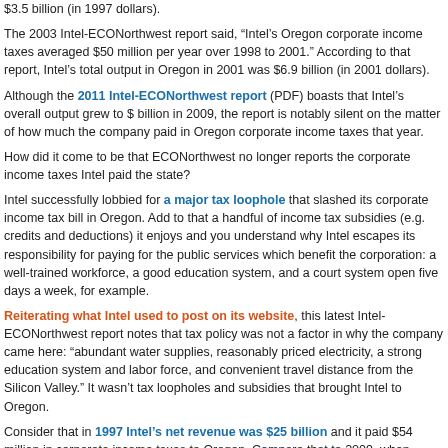$3.5 billion (in 1997 dollars).
The 2003 Intel-ECONorthwest report said, “Intel’s Oregon corporate income taxes averaged $50 million per year over 1998 to 2001.” According to that report, Intel’s total output in Oregon in 2001 was $6.9 billion (in 2001 dollars).
Although the 2011 Intel-ECONorthwest report (PDF) boasts that Intel’s overall output grew to $... billion in 2009, the report is notably silent on the matter of how much the company paid in Oregon corporate income taxes that year.
How did it come to be that ECONorthwest no longer reports the corporate income taxes Intel paid the state?
Intel successfully lobbied for a major tax loophole that slashed its corporate income tax bill in Oregon. Add to that a handful of income tax subsidies (e.g. credits and deductions) it enjoys and you understand why Intel escapes its responsibility for paying for the public services which benefit the corporation: a well-trained workforce, a good education system, and a court system open five days a week, for example.
Reiterating what Intel used to post on its website, this latest Intel-ECONorthwest report notes that tax policy was not a factor in why the company came here: “abundant water supplies, reasonably priced electricity, a strong education system and labor force, and convenient travel distance from the Silicon Valley.” It wasn’t tax loopholes and subsidies that brought Intel to Oregon.
Consider that in 1997 Intel’s net revenue was $25 billion and it paid $54 million in corporate income taxes to Oregon. Compare that to 2009, when Intel’s net revenues were $35 billion and the company won’t tell us what it paid in corporate income taxes to Oregon.
With its output in Oregon up and net revenues company-wide up as well, Intel’s failure to mention the corporate income taxes paid to Oregon speaks volumes.
While Intel points out that “contributions to Oregon-based charities, nonprofits and schools between 2005 and 2009” averaged $5.8 million a year, selectively donating to charity is no substitute for...